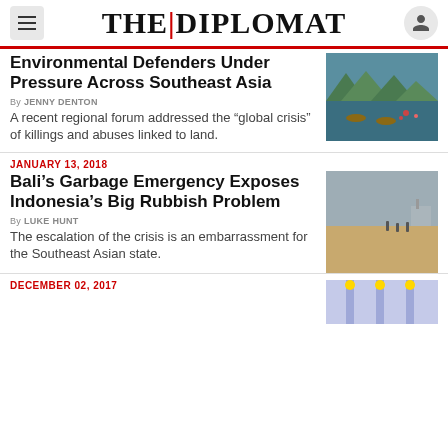THE DIPLOMAT
Environmental Defenders Under Pressure Across Southeast Asia
By JENNY DENTON
A recent regional forum addressed the “global crisis” of killings and abuses linked to land.
JANUARY 13, 2018
Bali’s Garbage Emergency Exposes Indonesia’s Big Rubbish Problem
By LUKE HUNT
The escalation of the crisis is an embarrassment for the Southeast Asian state.
DECEMBER 02, 2017